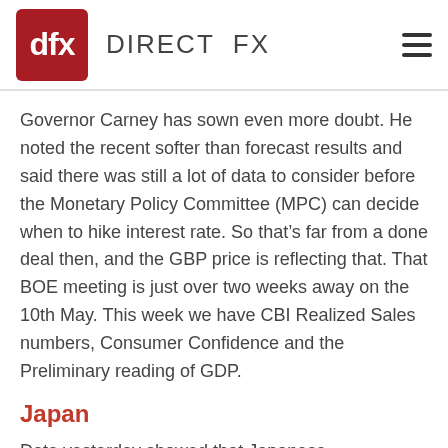dfx DIRECT FX
Governor Carney has sown even more doubt. He noted the recent softer than forecast results and said there was still a lot of data to consider before the Monetary Policy Committee (MPC) can decide when to hike interest rate. So that's far from a done deal then, and the GBP price is reflecting that. That BOE meeting is just over two weeks away on the 10th May. This week we have CBI Realized Sales numbers, Consumer Confidence and the Preliminary reading of GDP.
Japan
Data yesterday showed that Japanese